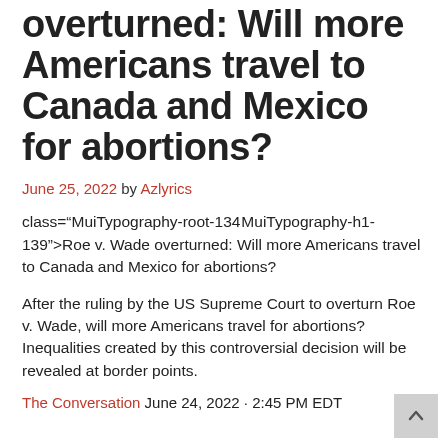overturned: Will more Americans travel to Canada and Mexico for abortions?
June 25, 2022 by Azlyrics
class="MuiTypography-root-134 MuiTypography-h1-139">Roe v. Wade overturned: Will more Americans travel to Canada and Mexico for abortions?
After the ruling by the US Supreme Court to overturn Roe v. Wade, will more Americans travel for abortions? Inequalities created by this controversial decision will be revealed at border points.
The Conversation June 24, 2022 · 2:45 PM EDT